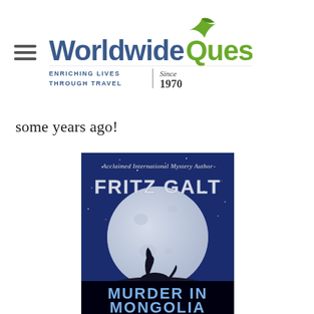[Figure (logo): WorldwideQuest logo with bird silhouette, tagline 'ENRICHING LIVES THROUGH TRAVEL | Since 1970']
some years ago!
[Figure (photo): Book cover: 'Murder in Mongolia' by Fritz Galt, Acclaimed International Mystery Author. Shows a wolf howling at a large full moon against a starry blue night sky.]